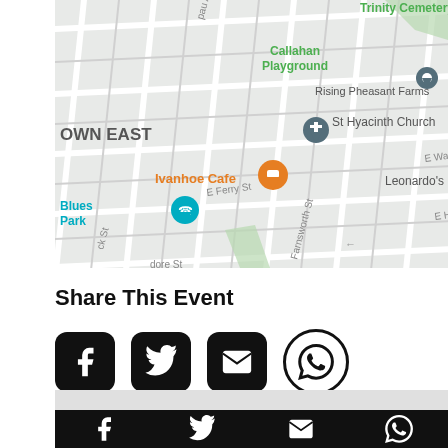[Figure (map): Street map showing Callahan Playground, Trinity Cemetery, Rising Pheasant Farms, St Hyacinth Church, Ivanhoe Cafe, Blues Park, E Warren Ave, Farnsworth St, E Hancock St, E Forest Ave, and other streets in Detroit's McDougall-Hunt/East area.]
Share This Event
[Figure (infographic): Four social sharing icons: Facebook (rounded square), Twitter (rounded square), Email/envelope (rounded square), WhatsApp (circle outline)]
[Figure (infographic): Bottom navigation bar with four icon buttons on dark background, partially visible]